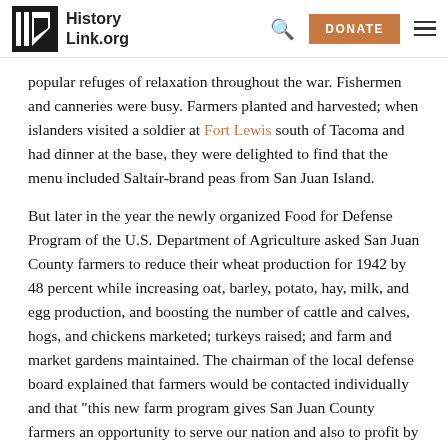HistoryLink.org
popular refuges of relaxation throughout the war. Fishermen and canneries were busy. Farmers planted and harvested; when islanders visited a soldier at Fort Lewis south of Tacoma and had dinner at the base, they were delighted to find that the menu included Saltair-brand peas from San Juan Island.
But later in the year the newly organized Food for Defense Program of the U.S. Department of Agriculture asked San Juan County farmers to reduce their wheat production for 1942 by 48 percent while increasing oat, barley, potato, hay, milk, and egg production, and boosting the number of cattle and calves, hogs, and chickens marketed; turkeys raised; and farm and market gardens maintained. The chairman of the local defense board explained that farmers would be contacted individually and that "this new farm program gives San Juan County farmers an opportunity to serve our nation and also to profit by it ourselves" ("County Farmers ...").
The...